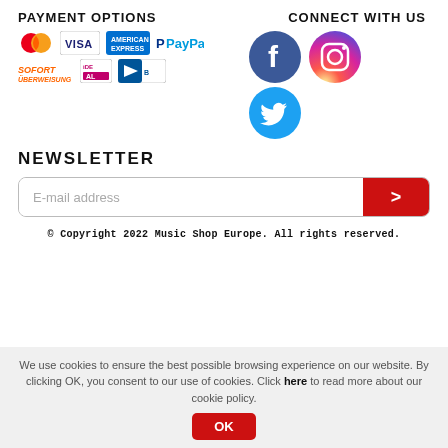PAYMENT OPTIONS
[Figure (logo): Payment method logos: Mastercard, Visa, American Express, PayPal, Sofort Überweisung, iDeal, Bancontact]
CONNECT WITH US
[Figure (logo): Social media icons: Facebook (blue circle), Instagram (colorful circle), Twitter (blue circle)]
NEWSLETTER
E-mail address
© Copyright 2022 Music Shop Europe. All rights reserved.
We use cookies to ensure the best possible browsing experience on our website. By clicking OK, you consent to our use of cookies. Click here to read more about our cookie policy.